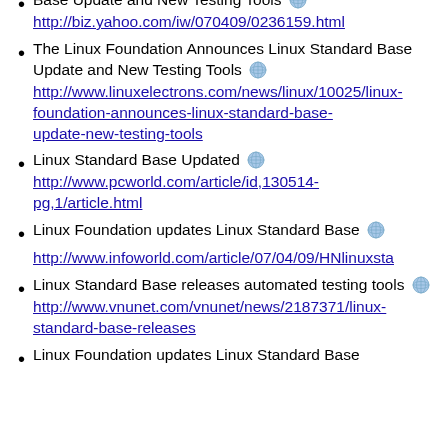Base Update and New Testing Tools http://biz.yahoo.com/iw/070409/0236159.html
The Linux Foundation Announces Linux Standard Base Update and New Testing Tools http://www.linuxelectrons.com/news/linux/10025/linux-foundation-announces-linux-standard-base-update-new-testing-tools
Linux Standard Base Updated http://www.pcworld.com/article/id,130514-pg,1/article.html
Linux Foundation updates Linux Standard Base http://www.infoworld.com/article/07/04/09/HNlinuxsta
Linux Standard Base releases automated testing tools http://www.vnunet.com/vnunet/news/2187371/linux-standard-base-releases
Linux Foundation updates Linux Standard Base